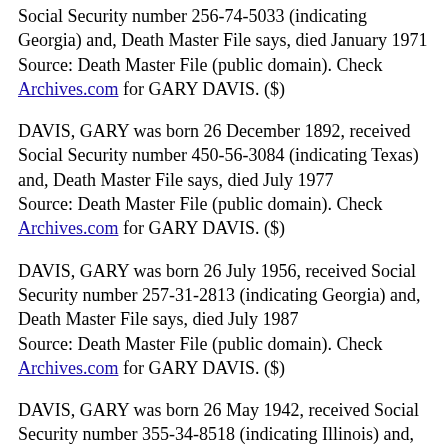Social Security number 256-74-5033 (indicating Georgia) and, Death Master File says, died January 1971
Source: Death Master File (public domain). Check Archives.com for GARY DAVIS. ($)
DAVIS, GARY was born 26 December 1892, received Social Security number 450-56-3084 (indicating Texas) and, Death Master File says, died July 1977
Source: Death Master File (public domain). Check Archives.com for GARY DAVIS. ($)
DAVIS, GARY was born 26 July 1956, received Social Security number 257-31-2813 (indicating Georgia) and, Death Master File says, died July 1987
Source: Death Master File (public domain). Check Archives.com for GARY DAVIS. ($)
DAVIS, GARY was born 26 May 1942, received Social Security number 355-34-8518 (indicating Illinois) and, Death Master File says, died June 1970